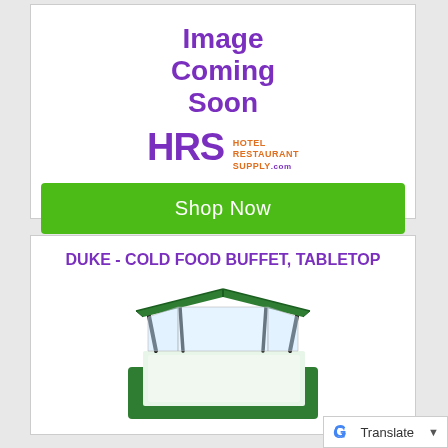[Figure (illustration): Image Coming Soon placeholder with HRS Hotel Restaurant Supply logo and a green Shop Now button]
DUKE - COLD FOOD BUFFET, TABLETOP
[Figure (photo): Green tabletop cold food buffet unit with clear sneeze guard panels and black support posts]